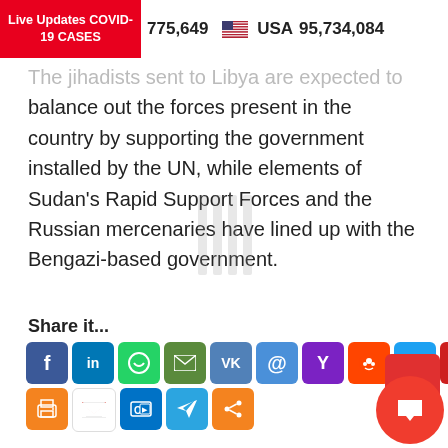Live Updates COVID-19 CASES | 775,649 | USA 95,734,084
The jihadists sent to Libya are expected to balance out the forces present in the country by supporting the government installed by the UN, while elements of Sudan's Rapid Support Forces and the Russian mercenaries have lined up with the Bengazi-based government.
Share it...
[Figure (infographic): Social media share buttons: Facebook, LinkedIn, WhatsApp, Email, VK, @, Yahoo, Reddit, Twitter, YouTube, Odnoklassniki, Print, Gmail, Outlook, Telegram, Share]
Comments  Listen